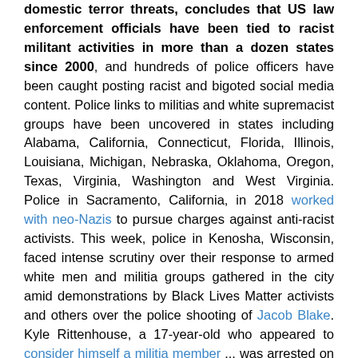domestic terror threats, concludes that US law enforcement officials have been tied to racist militant activities in more than a dozen states since 2000, and hundreds of police officers have been caught posting racist and bigoted social media content. Police links to militias and white supremacist groups have been uncovered in states including Alabama, California, Connecticut, Florida, Illinois, Louisiana, Michigan, Nebraska, Oklahoma, Oregon, Texas, Virginia, Washington and West Virginia. Police in Sacramento, California, in 2018 worked with neo-Nazis to pursue charges against anti-racist activists. This week, police in Kenosha, Wisconsin, faced intense scrutiny over their response to armed white men and militia groups gathered in the city amid demonstrations by Black Lives Matter activists and others over the police shooting of Jacob Blake. Kyle Rittenhouse, a 17-year-old who appeared to consider himself a militia member ... was arrested on suspicion of murder after the fatal shooting of two protesters. Activists in Kenosha say police there have responded aggressively and violently to Black Lives Matter demonstrators, while doing little to stop armed white vigilantes.
Note: Read how law enforcement prioritizes investigations of